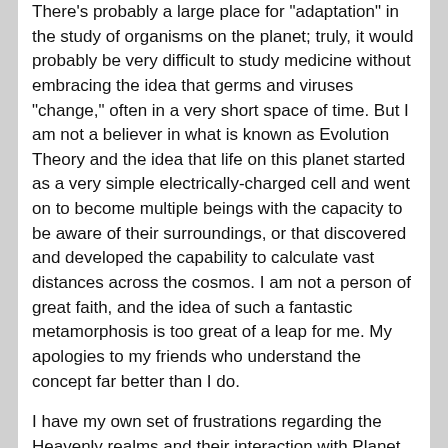There's probably a large place for "adaptation" in the study of organisms on the planet; truly, it would probably be very difficult to study medicine without embracing the idea that germs and viruses "change," often in a very short space of time. But I am not a believer in what is known as Evolution Theory and the idea that life on this planet started as a very simple electrically-charged cell and went on to become multiple beings with the capacity to be aware of their surroundings, or that discovered and developed the capability to calculate vast distances across the cosmos. I am not a person of great faith, and the idea of such a fantastic metamorphosis is too great of a leap for me. My apologies to my friends who understand the concept far better than I do.
I have my own set of frustrations regarding the Heavenly realms and their interaction with Planet Earth, as I'm sure you do. But I once lived life without a knowledge of a beneficent Being in my consciousness, and I would find it very difficult, if not impossible, to step back into that cold, dark existence. I've had my own losses and heartaches; some really hard to stomach. But the experiences have not